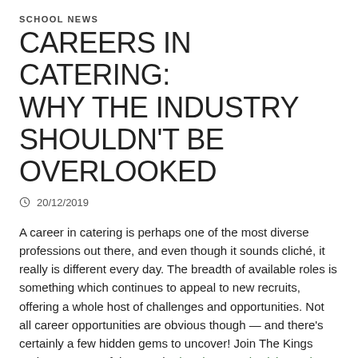SCHOOL NEWS
CAREERS IN CATERING: WHY THE INDUSTRY SHOULDN'T BE OVERLOOKED
20/12/2019
A career in catering is perhaps one of the most diverse professions out there, and even though it sounds cliché, it really is different every day. The breadth of available roles is something which continues to appeal to new recruits, offering a whole host of challenges and opportunities. Not all career opportunities are obvious though — and there's certainly a few hidden gems to uncover! Join The Kings Lodge Inn, one of the popular hotels near Alnwick Castle and take a look through this run down of some of the most interesting roles available in the catering industry.